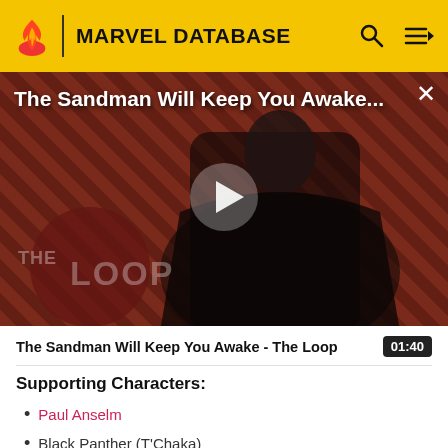MARVEL DATABASE
[Figure (screenshot): Video thumbnail for 'The Sandman Will Keep You Awake...' showing a dark-robed figure against a red diagonal striped background with THE LOOP logo, a play button in the center, and a close X button in the top right.]
The Sandman Will Keep You Awake - The Loop  01:40
Supporting Characters:
Paul Anselm
Black Panther (T'Chaka)